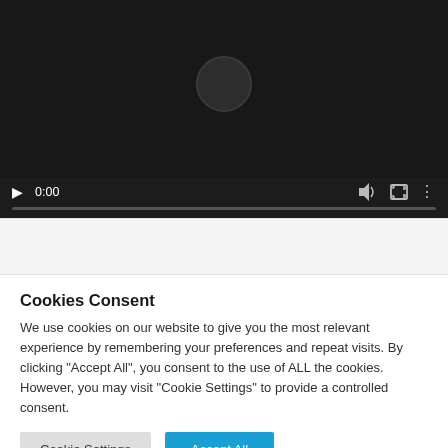[Figure (screenshot): Video player with dark background showing playback controls: play button, time display 0:00, volume icon, fullscreen icon, and more options icon. A progress bar is visible at the bottom. A large circular element is visible near the top center of the video frame.]
Cookies Consent
We use cookies on our website to give you the most relevant experience by remembering your preferences and repeat visits. By clicking "Accept All", you consent to the use of ALL the cookies. However, you may visit "Cookie Settings" to provide a controlled consent.
Cookie Settings | Accept All